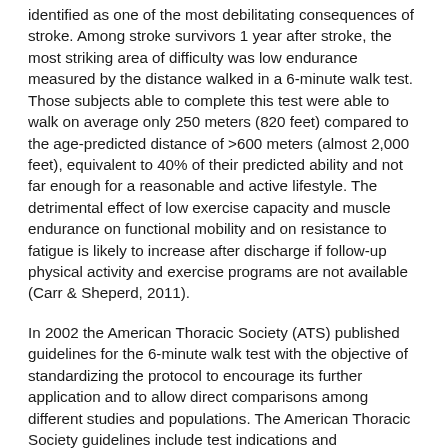identified as one of the most debilitating consequences of stroke. Among stroke survivors 1 year after stroke, the most striking area of difficulty was low endurance measured by the distance walked in a 6-minute walk test. Those subjects able to complete this test were able to walk on average only 250 meters (820 feet) compared to the age-predicted distance of >600 meters (almost 2,000 feet), equivalent to 40% of their predicted ability and not far enough for a reasonable and active lifestyle. The detrimental effect of low exercise capacity and muscle endurance on functional mobility and on resistance to fatigue is likely to increase after discharge if follow-up physical activity and exercise programs are not available (Carr & Sheperd, 2011).
In 2002 the American Thoracic Society (ATS) published guidelines for the 6-minute walk test with the objective of standardizing the protocol to encourage its further application and to allow direct comparisons among different studies and populations. The American Thoracic Society guidelines include test indications and contraindications, safety measures, and a step-by-step protocol as well as assistance with clinical interpretation (Dunn et al., 2015).